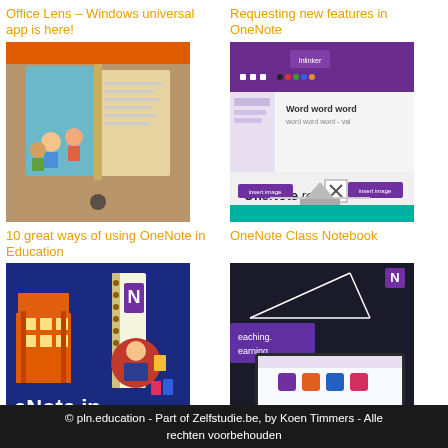Office Lens – Windows universal app is here!
[Figure (photo): Photo of Office Lens app scanning an open children's book with illustrated characters on a table]
Requesting new features in OneNote
[Figure (screenshot): Screenshot of OneNote interface with 'OneNote rocks!' and Insert Image dialog UI]
10 great ways of using OneNote in Education
[Figure (illustration): Colorful infographic illustration titled 'eNote in Education' with OneNote branding and cartoon characters]
OneNote Class Notebook
[Figure (photo): Photo of Surface tablet with purple keyboard showing OneNote Class Notebook interface with math triangle diagram on dark background]
© pln.education - Part of Zelfstudie.be, by Koen Timmers - Alle rechten voorbehouden